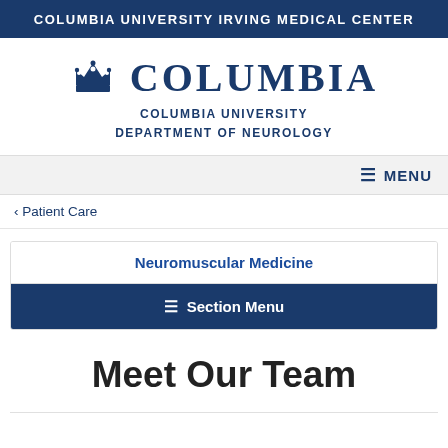Columbia University Irving Medical Center
[Figure (logo): Columbia University crown logo with wordmark and Department of Neurology subtitle]
≡ MENU
< Patient Care
Neuromuscular Medicine
≡ Section Menu
Meet Our Team